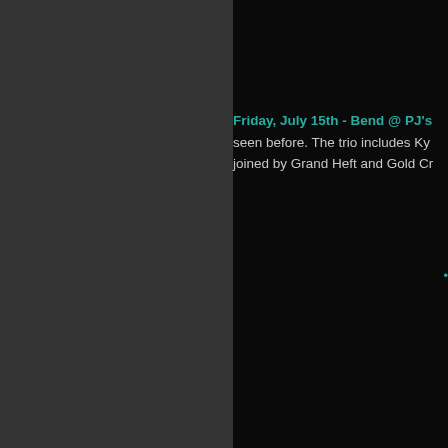Friday, July 15th - Bend @ PJ's
seen before. The trio includes Ky... joined by Grand Heft and Gold Cr...